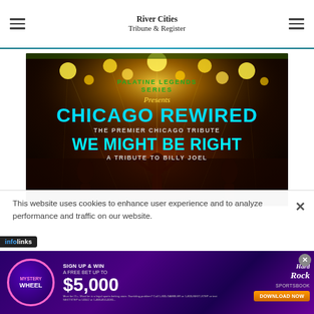River Cities Tribune & Register
[Figure (photo): Concert promotional image for Palatine Legends Series Presents Chicago Rewired - The Premier Chicago Tribute and We Might Be Right - A Tribute to Billy Joel, with bright stage lights and performers on a dark background]
This website uses cookies to enhance user experience and to analyze performance and traffic on our website.
[Figure (infographic): Hard Rock Sportsbook advertisement: Mystery Wheel - Sign Up & Win A Free Bet Up To $5,000 - Download Now]